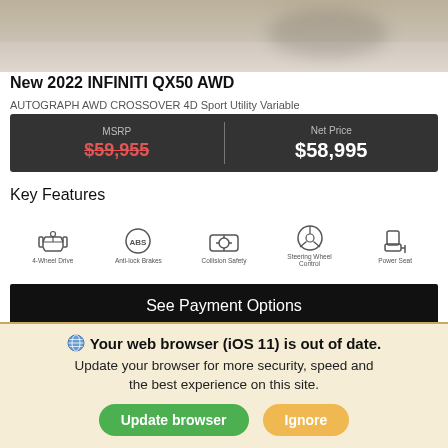[Figure (photo): Partial car image showing a vehicle on a tiled floor, top portion cropped]
New 2022 INFINITI QX50 AWD
AUTOGRAPH AWD CROSSOVER 4D Sport Utility Variable
| MSRP | Net Price |
| --- | --- |
| $59,955 | $58,995 |
Key Features
[Figure (infographic): Five key feature icons: 4-Wheel Drive, Anti-lock Brakes (ABS), Collision Safety, Steering Wheel Control, Power Seat]
See Payment Options
Build Your Deal
Your web browser (iOS 11) is out of date. Update your browser for more security, speed and the best experience on this site.
Update browser
Ignore